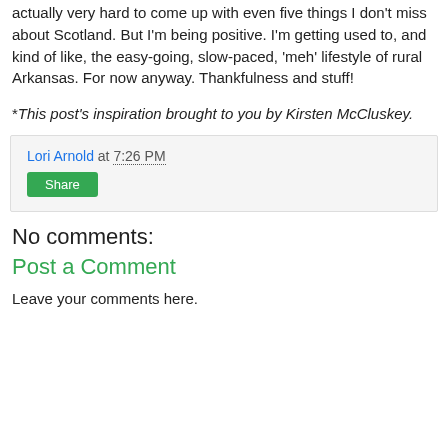actually very hard to come up with even five things I don't miss about Scotland. But I'm being positive. I'm getting used to, and kind of like, the easy-going, slow-paced, 'meh' lifestyle of rural Arkansas. For now anyway. Thankfulness and stuff!
*This post's inspiration brought to you by Kirsten McCluskey.
Lori Arnold at 7:26 PM
Share
No comments:
Post a Comment
Leave your comments here.